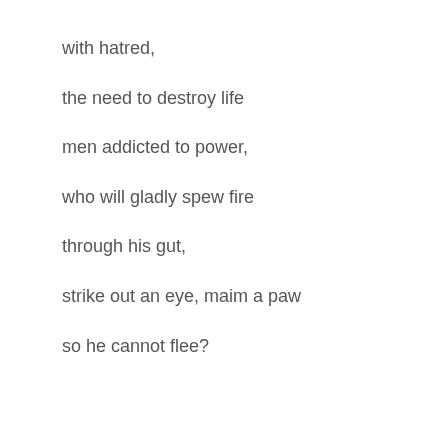with hatred,
the need to destroy life
men addicted to power,
who will gladly spew fire
through his gut,
strike out an eye, maim a paw
so he cannot flee?